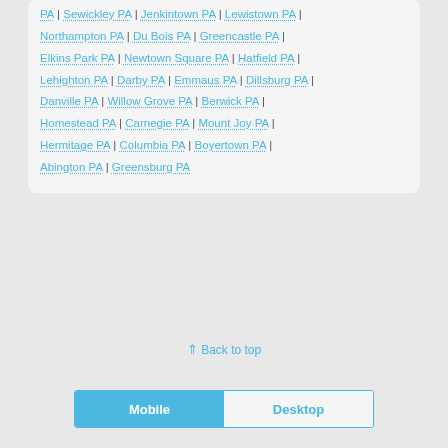PA | Sewickley PA | Jenkintown PA | Lewistown PA | Northampton PA | Du Bois PA | Greencastle PA | Elkins Park PA | Newtown Square PA | Hatfield PA | Lehighton PA | Darby PA | Emmaus PA | Dillsburg PA | Danville PA | Willow Grove PA | Berwick PA | Homestead PA | Carnegie PA | Mount Joy PA | Hermitage PA | Columbia PA | Boyertown PA | Abington PA | Greensburg PA
⇑ Back to top
Mobile | Desktop